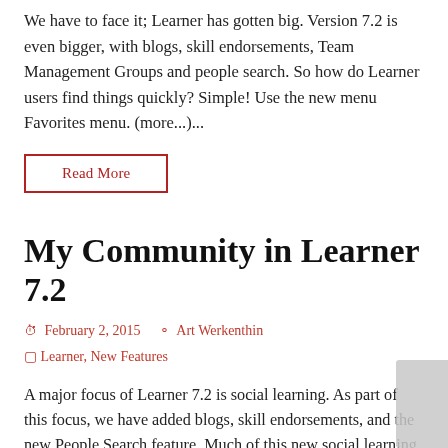We have to face it; Learner has gotten big.  Version 7.2 is even bigger, with blogs, skill endorsements, Team Management Groups and people search.  So how do Learner users find things quickly?  Simple!  Use the new menu Favorites menu. (more...)...
Read More
My Community in Learner 7.2
February 2, 2015   Art Werkenthin
Learner, New Features
A major focus of Learner 7.2 is social learning.  As part of this focus, we have added blogs, skill endorsements, and the new People Search feature.  Much of this new social learning information is also available on the My...